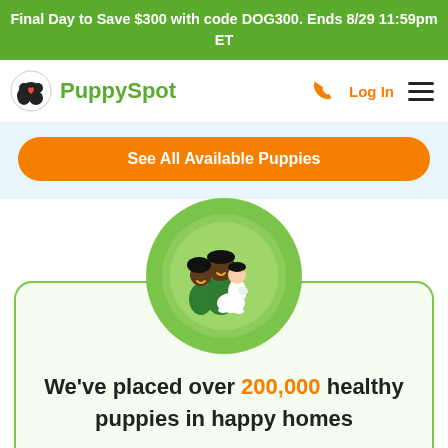Final Day to Save $300 with code DOG300. Ends 8/29 11:59pm ET
[Figure (logo): PuppySpot logo with dog icon and green text]
See All Available Puppies
[Figure (illustration): Circular green illustration of a family holding a puppy]
We've placed over 200,000 healthy puppies in happy homes